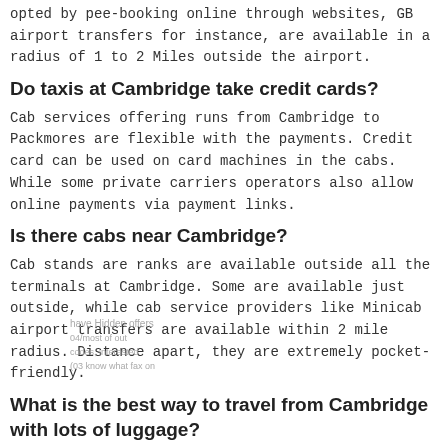opted by pee-booking online through websites, GB airport transfers for instance, are available in a radius of 1 to 2 Miles outside the airport.
Do taxis at Cambridge take credit cards?
Cab services offering runs from Cambridge to Packmores are flexible with the payments. Credit card can be used on card machines in the cabs. While some private carriers operators also allow online payments via payment links.
Is there cabs near Cambridge?
Cab stands are ranks are available outside all the terminals at Cambridge. Some are available just outside, while cab service providers like Minicab airport transfers are available within 2 mile radius. Distance apart, they are extremely pocket-friendly.
What is the best way to travel from Cambridge with lots of luggage?
If you are planning to travel from Cambridge to Packmores with luggage, then hiring a people-carrier would be best alternative. Sites like www.Cambridge-minicab.co.uk offer great